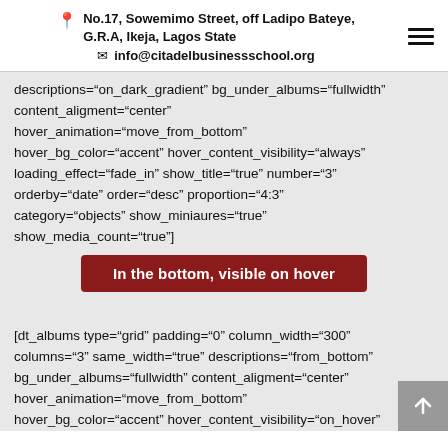No.17, Sowemimo Street, off Ladipo Bateye, G.R.A, Ikeja, Lagos State
info@citadelbusinessschool.org
descriptions="on_dark_gradient" bg_under_albums="fullwidth" content_aligment="center" hover_animation="move_from_bottom" hover_bg_color="accent" hover_content_visibility="always" loading_effect="fade_in" show_title="true" number="3" orderby="date" order="desc" proportion="4:3" category="objects" show_miniaures="true" show_media_count="true"]
In the bottom, visible on hover
[dt_albums type="grid" padding="0" column_width="300" columns="3" same_width="true" descriptions="from_bottom" bg_under_albums="fullwidth" content_aligment="center" hover_animation="move_from_bottom" hover_bg_color="accent" hover_content_visibility="on_hover"